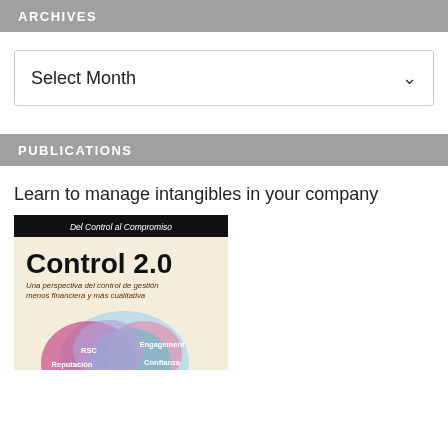ARCHIVES
Select Month
PUBLICATIONS
Learn to manage intangibles in your company
[Figure (illustration): Book cover for 'Control 2.0 - Del Control al Compromiso' showing title, subtitle 'Una perspectiva del control de gestión menos financiera y más cualitativa', and overlapping colored circles labeled RSC, Engagement, Reputación, Confianza on a cream background with black header bar.]